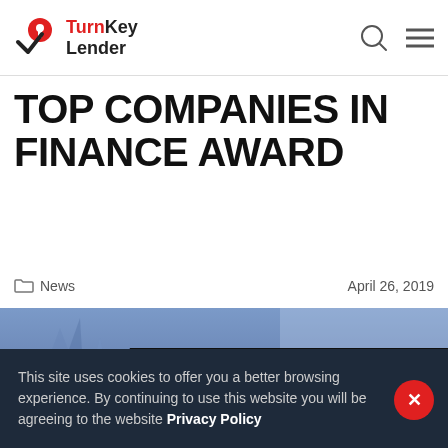TurnKey Lender
TOP COMPANIES IN FINANCE AWARD
News   April 26, 2019
[Figure (infographic): FinNext Awards Winner banner with TurnKey Lender logo, blue geometric background]
This site uses cookies to offer you a better browsing experience. By continuing to use this website you will be agreeing to the website Privacy Policy